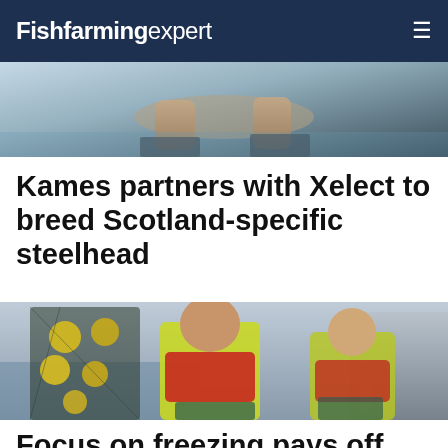Fishfarming expert
[Figure (photo): Close-up photo of hands holding a fish, outdoors near water]
Kames partners with Xelect to breed Scotland-specific steelhead
[Figure (photo): Two men in yellow high-visibility vests and red life jackets laughing near fishing nets with yellow floats, at a harbor with aquaculture equipment in the background]
Focus on freezing pays off